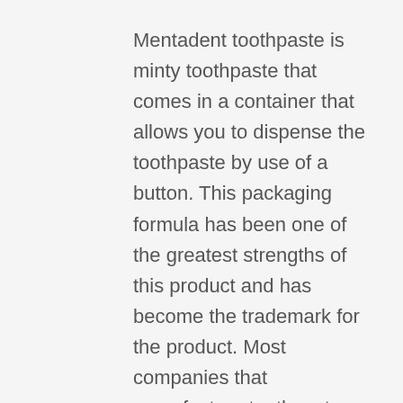Mentadent toothpaste is minty toothpaste that comes in a container that allows you to dispense the toothpaste by use of a button. This packaging formula has been one of the greatest strengths of this product and has become the trademark for the product. Most companies that manufacture toothpaste could not copy this packaging formula.